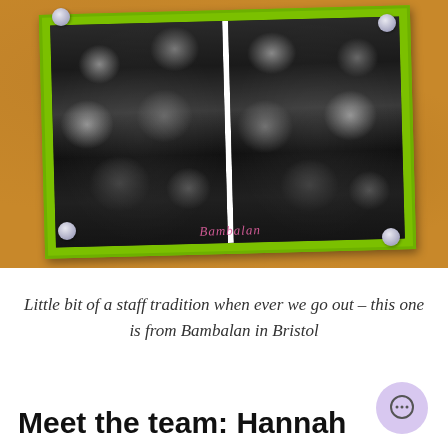[Figure (photo): A photo booth style black and white photo strip showing a group of women laughing and making faces, pinned to a cork board with a bright green border/frame. The photo strip is divided into two panels. A cursive 'Bambalan' label appears at the bottom of the photo. Clear pushpins are visible at the corners.]
Little bit of a staff tradition when ever we go out – this one is from Bambalan in Bristol
Meet the team: Hannah